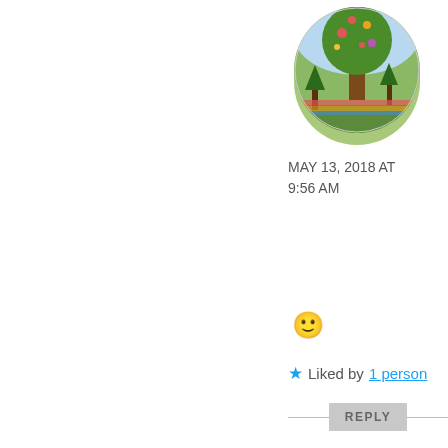[Figure (photo): Circular avatar photo of user 'jen' showing a colorful folk-art tree tapestry/quilt]
MAY 13, 2018 AT 9:56 AM
🙂
★ Liked by 1 person
REPLY
[Figure (photo): Circular avatar photo of user 'hilarymb' showing a woman wearing a straw hat outdoors]
hilarymb
MAY 13, 2018 AT 11:25 AM
Hi Dan – wonderful post ... and I watched all the videos – I think I could